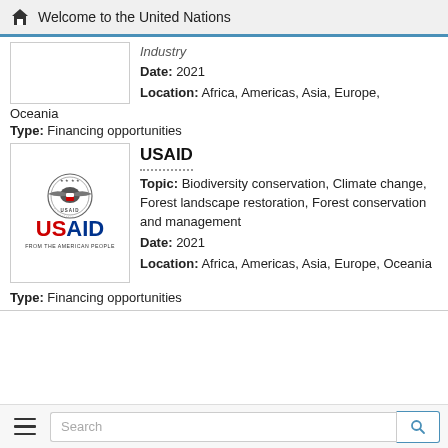Welcome to the United Nations
Industry
Date: 2021
Location: Africa, Americas, Asia, Europe, Oceania
Type: Financing opportunities
[Figure (logo): USAID logo with eagle seal and text FROM THE AMERICAN PEOPLE]
USAID
Topic: Biodiversity conservation, Climate change, Forest landscape restoration, Forest conservation and management
Date: 2021
Location: Africa, Americas, Asia, Europe, Oceania
Type: Financing opportunities
Search